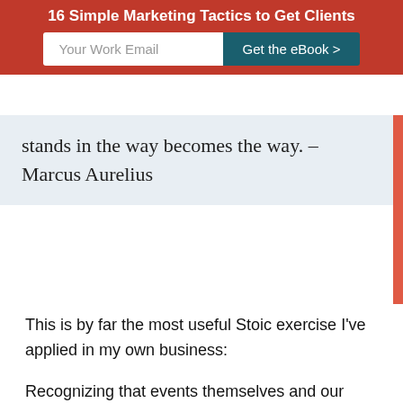16 Simple Marketing Tactics to Get Clients
Your Work Email
Get the eBook >
stands in the way becomes the way. – Marcus Aurelius
This is by far the most useful Stoic exercise I've applied in my own business:
Recognizing that events themselves and our perception of them are two very different things.
According to the Stoics, we are constantly perceiving the world not as things really are, but through the lens of our own perception. Our perception is loaded with